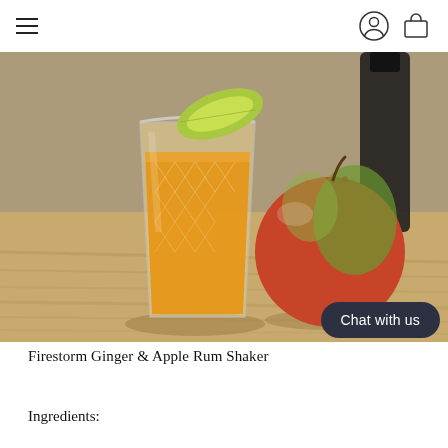[Figure (photo): A crystal-cut glass tumbler filled with a golden amber cocktail, garnished with a lime wedge at the top. Next to the glass sits a red and green apple. Both items rest on a light wood surface. A dark bottle is partially visible in the background.]
Firestorm Ginger & Apple Rum Shaker
Ingredients: